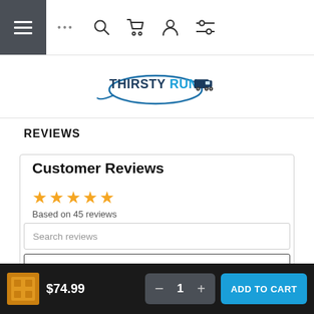[Figure (screenshot): Navigation bar with hamburger menu button (dark grey), three dots, search icon, cart icon, person icon, and filter/settings icon]
[Figure (logo): ThirstyRun logo with truck graphic and swoosh ellipse]
REVIEWS
Customer Reviews
Based on 45 reviews
Search reviews
Write a review
$74.99
1
ADD TO CART